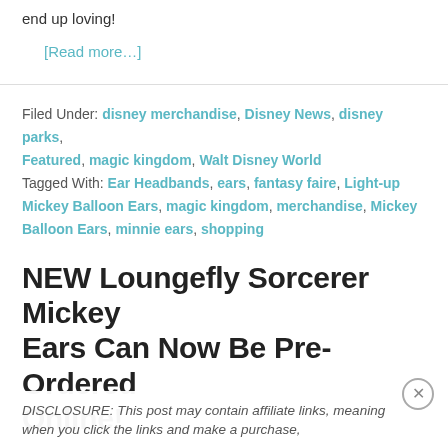end up loving!
[Read more…]
Filed Under: disney merchandise, Disney News, disney parks, Featured, magic kingdom, Walt Disney World
Tagged With: Ear Headbands, ears, fantasy faire, Light-up Mickey Balloon Ears, magic kingdom, merchandise, Mickey Balloon Ears, minnie ears, shopping
NEW Loungefly Sorcerer Mickey Ears Can Now Be Pre-Ordered Online!
By Lydia Storke — Leave a Comment
DISCLOSURE: This post may contain affiliate links, meaning when you click the links and make a purchase,